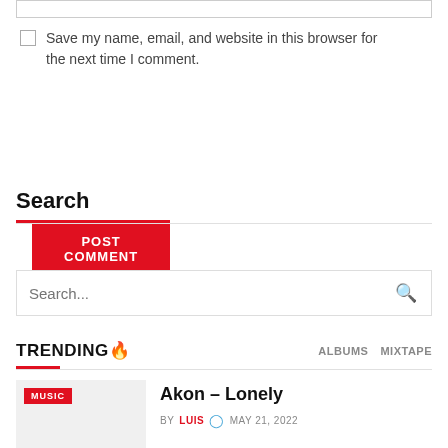Save my name, email, and website in this browser for the next time I comment.
POST COMMENT
Search
Search...
TRENDING🔥
ALBUMS   MIXTAPE
MUSIC
Akon – Lonely
BY LUIS  🕐 MAY 21, 2022